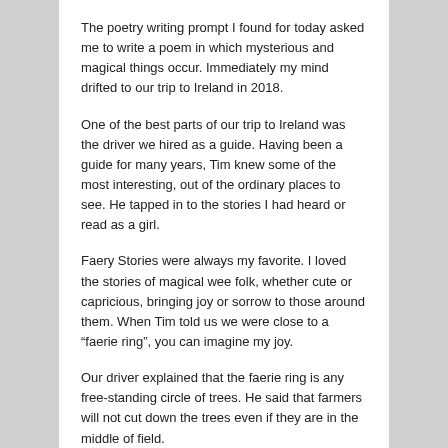The poetry writing prompt I found for today asked me to write a poem in which mysterious and magical things occur. Immediately my mind drifted to our trip to Ireland in 2018.
One of the best parts of our trip to Ireland was the driver we hired as a guide. Having been a guide for many years, Tim knew some of the most interesting, out of the ordinary places to see. He tapped in to the stories I had heard or read as a girl.
Faery Stories were always my favorite. I loved the stories of magical wee folk, whether cute or capricious, bringing joy or sorrow to those around them. When Tim told us we were close to a “faerie ring”, you can imagine my joy.
Our driver explained that the faerie ring is any free-standing circle of trees. He said that farmers will not cut down the trees even if they are in the middle of field.
Superstitions are strong in Ireland.